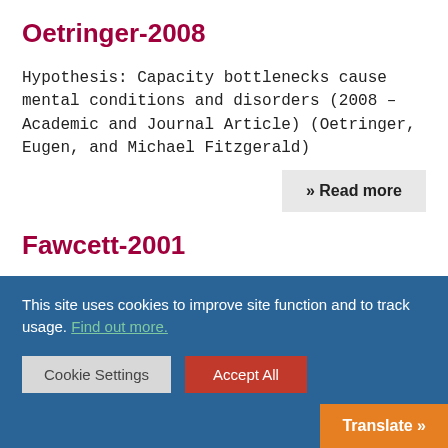Oetringer-2008
Hypothesis: Capacity bottlenecks cause mental conditions and disorders (2008 – Academic and Journal Article) (Oetringer, Eugen, and Michael Fitzgerald)
» Read more
Fawcett-2001
Dyslexia: Theory and Good Practice (2001 – Book) (Fawcett, Angela)
This site uses cookies to improve site function and to track usage. Find out more.
Cookie Settings
Accept All
Translate »